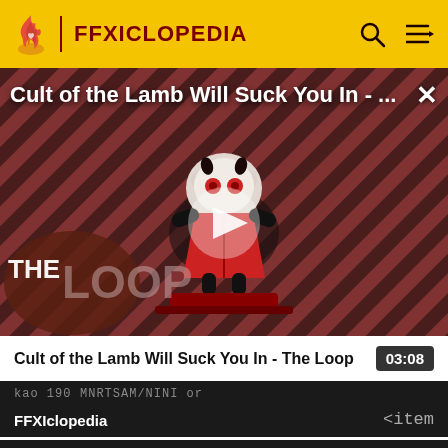FFXICLOPEDIA
[Figure (screenshot): Video thumbnail for 'Cult of the Lamb Will Suck You In - The Loop' showing a cartoon lamb character with red eyes on a striped background with 'THE LOOP' text overlay and a play button]
Cult of the Lamb Will Suck You In - The Loop
03:08
[Figure (screenshot): Dark video strip showing 'FFXIclopedia' text with code-like text in background including '<item']
[Figure (screenshot): Dark video strip showing 'on abjuration: body' text]